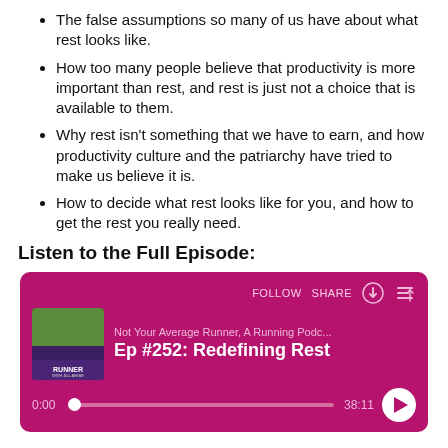The false assumptions so many of us have about what rest looks like.
How too many people believe that productivity is more important than rest, and rest is just not a choice that is available to them.
Why rest isn't something that we have to earn, and how productivity culture and the patriarchy have tried to make us believe it is.
How to decide what rest looks like for you, and how to get the rest you really need.
Listen to the Full Episode:
[Figure (screenshot): Podcast player card with magenta/pink background showing episode 'Ep #252: Redefining Rest' from 'Not Your Average Runner, A Running Podc...' with timestamp 0:00 and total duration 38:11, play button, follow and share controls.]